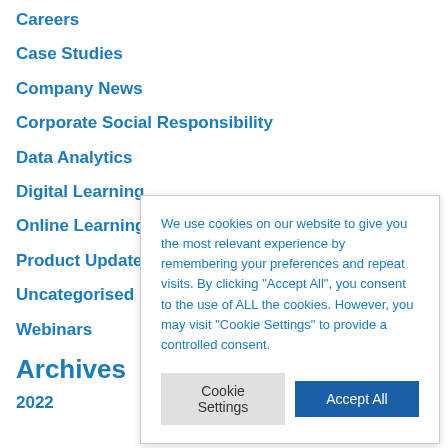Careers
Case Studies
Company News
Corporate Social Responsibility
Data Analytics
Digital Learning
Online Learning
Product Updates
Uncategorised
Webinars
Archives
2022
We use cookies on our website to give you the most relevant experience by remembering your preferences and repeat visits. By clicking "Accept All", you consent to the use of ALL the cookies. However, you may visit "Cookie Settings" to provide a controlled consent.